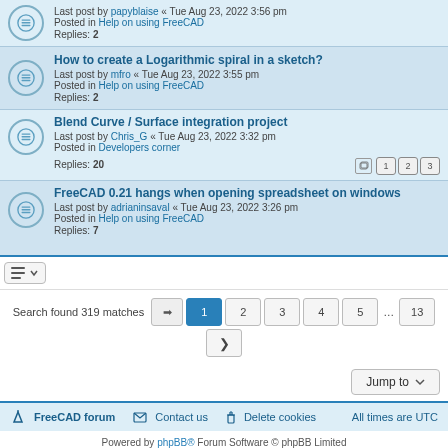Last post by papyblaise « Tue Aug 23, 2022 3:56 pm
Posted in Help on using FreeCAD
Replies: 2
How to create a Logarithmic spiral in a sketch?
Last post by mfro « Tue Aug 23, 2022 3:55 pm
Posted in Help on using FreeCAD
Replies: 2
Blend Curve / Surface integration project
Last post by Chris_G « Tue Aug 23, 2022 3:32 pm
Posted in Developers corner
Replies: 20
FreeCAD 0.21 hangs when opening spreadsheet on windows
Last post by adrianinsaval « Tue Aug 23, 2022 3:26 pm
Posted in Help on using FreeCAD
Replies: 7
Search found 319 matches
Pagination: 1 2 3 4 5 … 13
Jump to
FreeCAD forum   Contact us   Delete cookies   All times are UTC
Powered by phpBB® Forum Software © phpBB Limited
Privacy | Terms